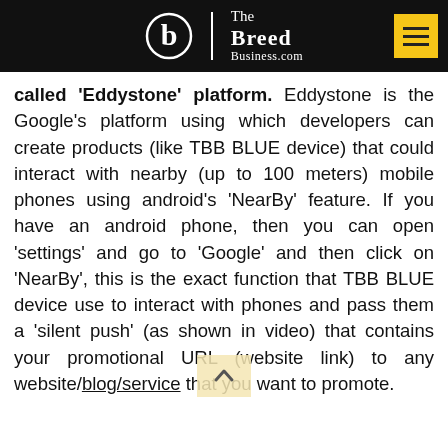The Breed Business.com
called 'Eddystone' platform. Eddystone is the Google's platform using which developers can create products (like TBB BLUE device) that could interact with nearby (up to 100 meters) mobile phones using android's 'NearBy' feature. If you have an android phone, then you can open 'settings' and go to 'Google' and then click on 'NearBy', this is the exact function that TBB BLUE device use to interact with phones and pass them a 'silent push' (as shown in video) that contains your promotional URL (website link) to any website/blog/service that you want to promote.